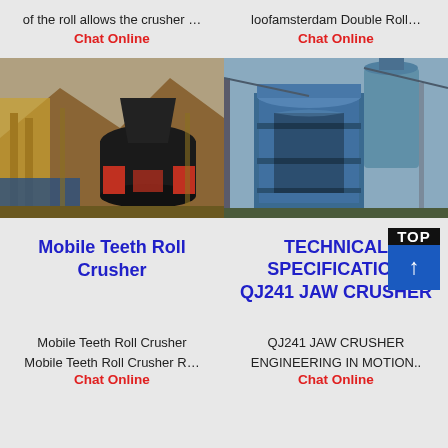of the roll allows the crusher …
Chat Online
loofamsterdam Double Roll…
Chat Online
[Figure (photo): Mobile cone crusher at an open-pit mining site with yellow structural framework and red accent machinery components]
[Figure (photo): Blue industrial jaw/cone crusher equipment at a processing facility with metal framework and tanks]
Mobile Teeth Roll Crusher
TECHNICAL SPECIFICATION QJ241 JAW CRUSHER
Mobile Teeth Roll Crusher
Mobile Teeth Roll Crusher R…
Chat Online
QJ241 JAW CRUSHER ENGINEERING IN MOTION..
Chat Online